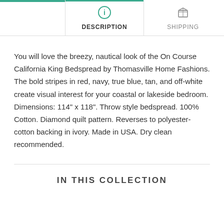DESCRIPTION
SHIPPING
You will love the breezy, nautical look of the On Course California King Bedspread by Thomasville Home Fashions. The bold stripes in red, navy, true blue, tan, and off-white create visual interest for your coastal or lakeside bedroom. Dimensions: 114" x 118". Throw style bedspread. 100% Cotton. Diamond quilt pattern. Reverses to polyester-cotton backing in ivory. Made in USA. Dry clean recommended.
IN THIS COLLECTION